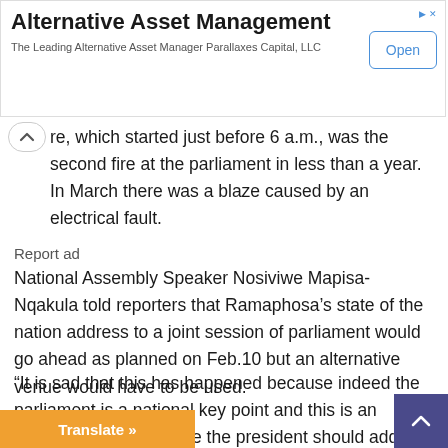[Figure (other): Advertisement banner for Alternative Asset Management by Parallaxes Capital, LLC with an Open button]
re, which started just before 6 a.m., was the second fire at the parliament in less than a year. In March there was a blaze caused by an electrical fault.
Report ad
National Assembly Speaker Nosiviwe Mapisa-Nqakula told reporters that Ramaphosa’s state of the nation address to a joint session of parliament would go ahead as planned on Feb.10 but an alternative venue would have to be used.
“It is sad that this has happened because indeed the parliament is a national key point and this is an appropriate place where the president should address the nation from… said.